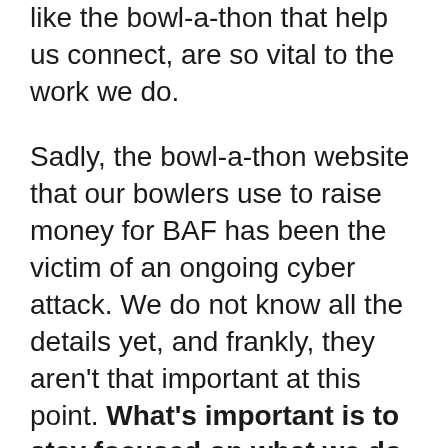like the bowl-a-thon that help us connect, are so vital to the work we do.
Sadly, the bowl-a-thon website that our bowlers use to raise money for BAF has been the victim of an ongoing cyber attack. We do not know all the details yet, and frankly, they aren't that important at this point. What's important is to stay focused on what we do best: making sure our callers have the means to access safe abortion care in our state. We had just reached the halfway mark when the website went down, so we're counting on you to help us raise the other $9,000 for abortion access in Baltimore